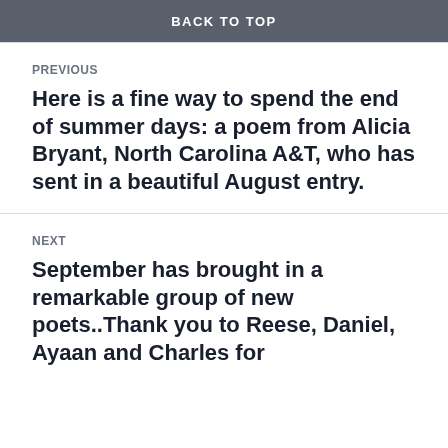BACK TO TOP
PREVIOUS
Here is a fine way to spend the end of summer days: a poem from Alicia Bryant, North Carolina A&T, who has sent in a beautiful August entry.
NEXT
September has brought in a remarkable group of new poets..Thank you to Reese, Daniel, Ayaan and Charles for